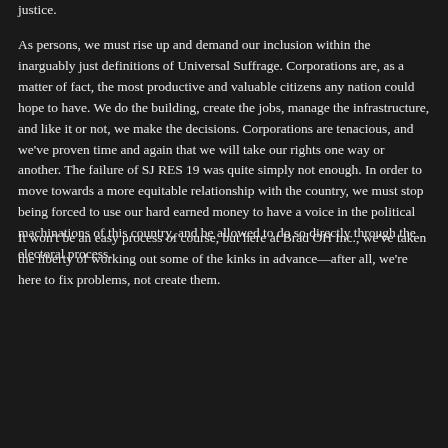justice.

As persons, we must rise up and demand our inclusion within the inarguably just definitions of Universal Suffrage. Corporations are, as a matter of fact, the most productive and valuable citizens any nation could hope to have. We do the building, create the jobs, manage the infrastructure, and like it or not, we make the decisions. Corporations are tenacious, and we've proven time and again that we will take our rights one way or another. The failure of SJ RES 19 was quite simply not enough. In order to move towards a more equitable relationship with the country, we must stop being forced to use our hard earned money to have a voice in the political machinations of this country, and be allowed to do so directly through the electoral process.
It won't be an easy process of course, but here at Brad OH Inc., we've taken the liberty of working out some of the kinks in advance—after all, we're here to fix problems, not create them.